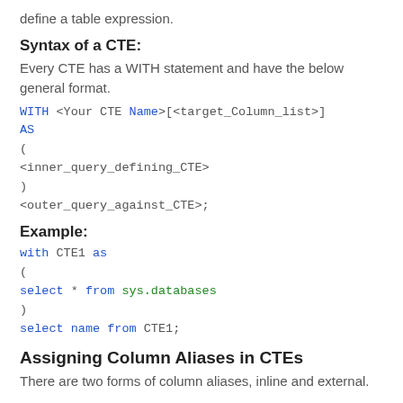define a table expression.
Syntax of a CTE:
Every CTE has a WITH statement and have the below general format.
WITH <Your CTE Name>[<target_Column_list>]
AS
(
<inner_query_defining_CTE>
)
<outer_query_against_CTE>;
Example:
with CTE1 as
(
select * from sys.databases
)
select name from CTE1;
Assigning Column Aliases in CTEs
There are two forms of column aliases, inline and external.